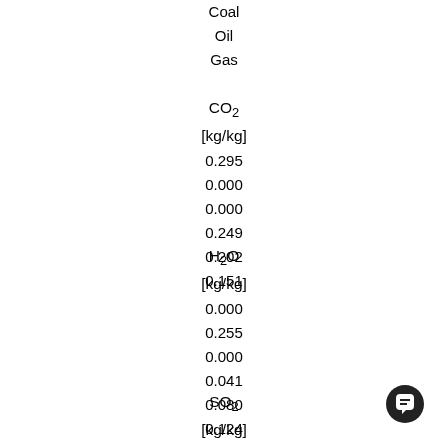Coal
Oil
Gas
CO2 [kg/kg]
0.295
0.000
0.000
0.249
0.202
0.151
H2O [kg/kg]
0.000
0.255
0.000
0.041
0.080
0.124
SO2 [kg/kg]